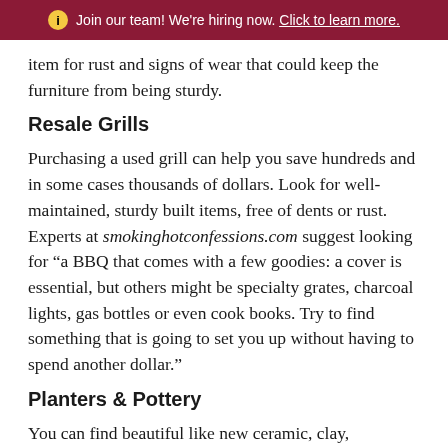Join our team! We're hiring now. Click to learn more.
item for rust and signs of wear that could keep the furniture from being sturdy.
Resale Grills
Purchasing a used grill can help you save hundreds and in some cases thousands of dollars. Look for well-maintained, sturdy built items, free of dents or rust. Experts at smokinghotconfessions.com suggest looking for “a BBQ that comes with a few goodies: a cover is essential, but others might be specialty grates, charcoal lights, gas bottles or even cook books. Try to find something that is going to set you up without having to spend another dollar.”
Planters & Pottery
You can find beautiful like new ceramic, clay,